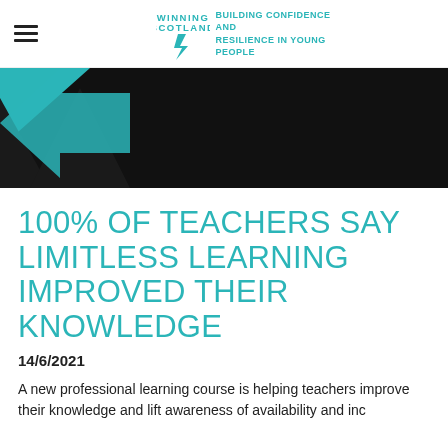WINNING SCOTLAND — BUILDING CONFIDENCE AND RESILIENCE IN YOUNG PEOPLE
[Figure (illustration): Dark hero banner with teal geometric triangle/arrow shapes on the left side against a black background]
100% OF TEACHERS SAY LIMITLESS LEARNING IMPROVED THEIR KNOWLEDGE
14/6/2021
A new professional learning course is helping teachers improve their knowledge andift awareness of availability and inc...